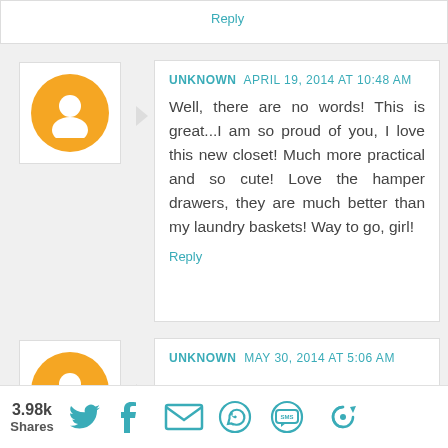Reply
UNKNOWN APRIL 19, 2014 AT 10:48 AM
Well, there are no words! This is great...I am so proud of you, I love this new closet! Much more practical and so cute! Love the hamper drawers, they are much better than my laundry baskets! Way to go, girl!
Reply
UNKNOWN MAY 30, 2014 AT 5:06 AM
شركة عزل
شركة نقل عفش
3.98k Shares